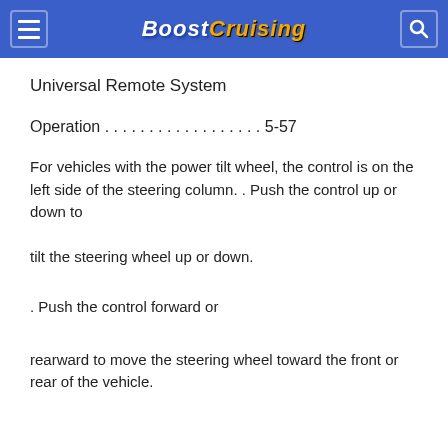BoostCruising
Universal Remote System
Operation . . . . . . . . . . . . . . . . . . 5-57
For vehicles with the power tilt wheel, the control is on the left side of the steering column. . Push the control up or down to
tilt the steering wheel up or down.
. Push the control forward or
rearward to move the steering wheel toward the front or rear of the vehicle.